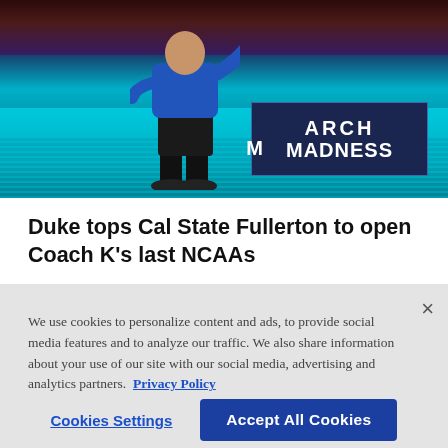[Figure (photo): A basketball coach wearing a blue top stands on the court sideline during March Madness NCAA tournament. The 'MARCH MADNESS' logo is visible on the LED scoreboard behind him. The court floor is teal/cyan colored.]
Duke tops Cal State Fullerton to open Coach K's last NCAAs
We use cookies to personalize content and ads, to provide social media features and to analyze our traffic. We also share information about your use of our site with our social media, advertising and analytics partners.  Privacy Policy
Cookies Settings
Accept All Cookies